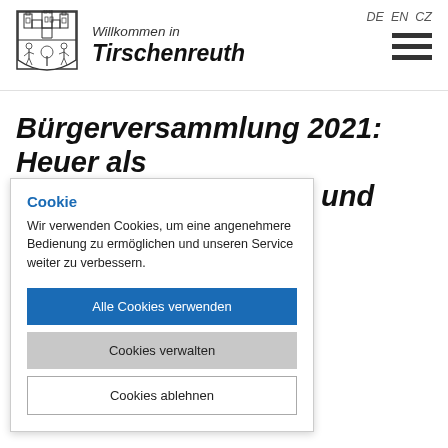[Figure (logo): Coat of arms / logo of Tirschenreuth municipality — shield with towers and figures]
Willkommen in Tirschenreuth
DE EN CZ
[Figure (other): Hamburger menu icon — three horizontal bars]
Bürgerversammlung 2021: Heuer als C... mit Aus- und R...
Cookie
Wir verwenden Cookies, um eine angenehmere Bedienung zu ermöglichen und unseren Service weiter zu verbessern.
Alle Cookies verwenden
Cookies verwalten
Cookies ablehnen